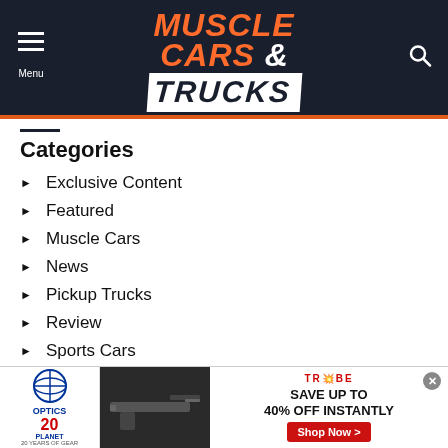Muscle Cars & Trucks
Categories
Exclusive Content
Featured
Muscle Cars
News
Pickup Trucks
Review
Sports Cars
Supercars
SUV
Vans
[Figure (screenshot): Advertisement banner for Optics Planet 20 Years and Try Bros: Save up to 40% off instantly. Shop Now button. Features an image of a firearm accessory.]